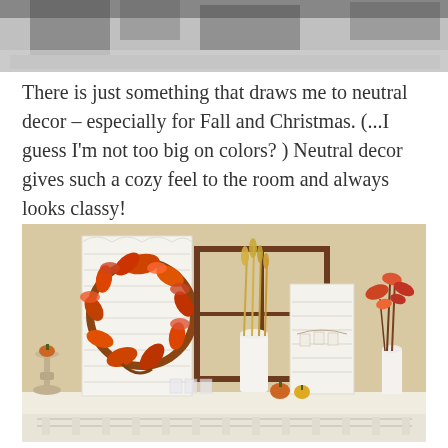[Figure (photo): Black and white photo at the top of the page, partially cropped, showing an outdoor snowy or textured surface scene.]
There is just something that draws me to neutral decor – especially for Fall and Christmas. (...I guess I'm not too big on colors? ) Neutral decor gives such a cozy feel to the room and always looks classy!
[Figure (photo): Color photograph of a fireplace mantel decorated for fall, featuring an orange autumn wreath hung on a white shutter, a vintage window frame, wheat stalks in a white pitcher, a white louvered shutter with a banner, orange floral arrangement in a white vase, a silver candlestick with a small pumpkin, and small pumpkins on the mantel shelf. The wall color is warm beige.]